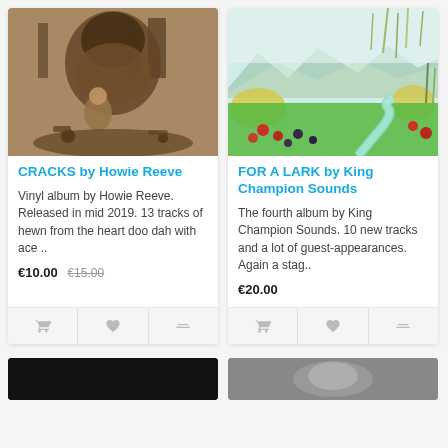[Figure (photo): Sepia-toned illustration for 'CRACKS by Howie Reeve' album cover, showing a large fantastical creature with a child and scattered objects]
CRACKS by Howie Reeve
Vinyl album by Howie Reeve. Released in mid 2019. 13 tracks of hewn from the heart doo dah with ace ..
€10.00  €15.00
[Figure (photo): Colorful Japanese-style landscape illustration for 'FOR A LARK by King Champion Sounds', showing meadows, wildflowers, mountains]
FOR A LARK by King Champion Sounds
The fourth album by King Champion Sounds. 10 new tracks and a lot of guest-appearances. Again a stag..
€20.00
[Figure (photo): Dark/black album cover thumbnail at bottom left]
[Figure (photo): Black and white photo thumbnail at bottom right]